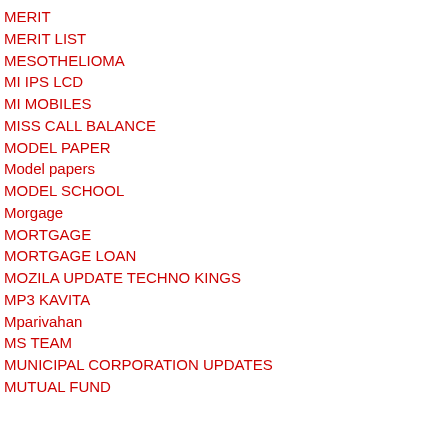MERIT
MERIT LIST
MESOTHELIOMA
MI IPS LCD
MI MOBILES
MISS CALL BALANCE
MODEL PAPER
Model papers
MODEL SCHOOL
Morgage
MORTGAGE
MORTGAGE LOAN
MOZILA UPDATE TECHNO KINGS
MP3 KAVITA
Mparivahan
MS TEAM
MUNICIPAL CORPORATION UPDATES
MUTUAL FUND